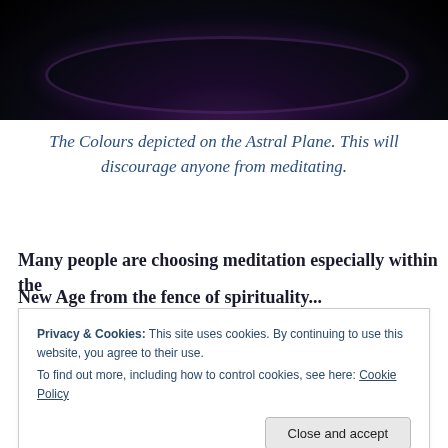[Figure (illustration): Dark abstract circular image with deep purple and black tones, resembling a dark portal or cosmic sphere on the Astral Plane.]
The Colours depicted on the Astral Plane. This will discourage anyone from meditating.
Many people are choosing meditation especially within the
relationship with darkness.
Privacy & Cookies: This site uses cookies. By continuing to use this website, you agree to their use.
To find out more, including how to control cookies, see here: Cookie Policy
Close and accept